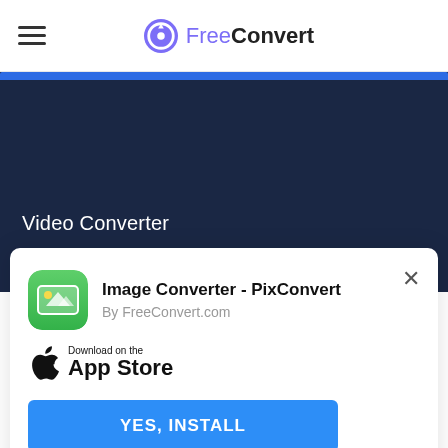FreeConvert
Video Converter
MP4 Converter
[Figure (screenshot): App install popup with PixConvert icon, App Store badge, and YES, INSTALL button]
Image Converter - PixConvert
By FreeConvert.com
Download on the App Store
YES, INSTALL